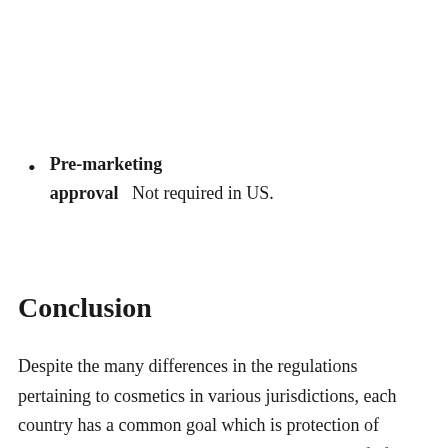the manufacturer complied with regulatory
Pre-marketing approval — Not required in US.
Not required in most countries.
Conclusion
Despite the many differences in the regulations pertaining to cosmetics in various jurisdictions, each country has a common goal which is protection of consumers by ensuring that the cosmetics are safe for use. The International Organization for